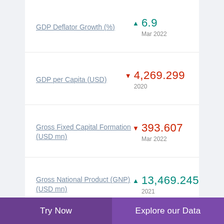GDP Deflator Growth (%) ▲ 6.9 Mar 2022
GDP per Capita (USD) ▼ 4,269.299 2020
Gross Fixed Capital Formation (USD mn) ▼ 393.607 Mar 2022
Gross National Product (GNP) (USD mn) ▲ 13,469.245 2021
Gross Savings Rate (%) ▼ 5.2 Mar 2022
Investment; % of GDP
Try Now | Explore our Data